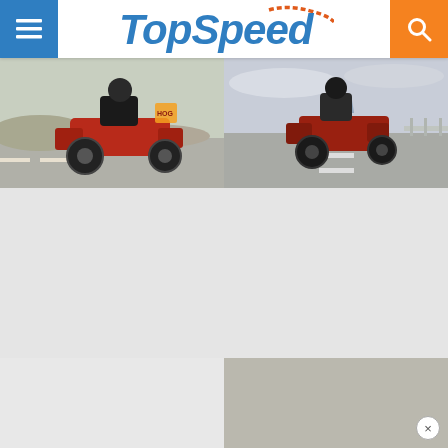TopSpeed
[Figure (photo): Red Harley-Davidson motorcycle with rider wearing black leather jacket, riding on road, desert background, Harley-Davidson logo visible]
[Figure (photo): Red Harley-Davidson motorcycle with rider, riding on highway with guardrail, overcast sky]
[Figure (photo): Light gray placeholder image]
[Figure (photo): Light gray placeholder image]
[Figure (photo): Light gray placeholder image]
[Figure (photo): Darker gray/tan placeholder image]